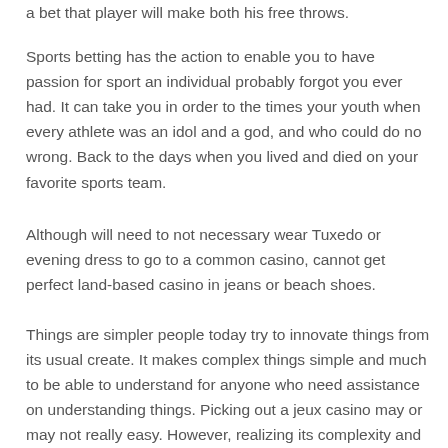a bet that player will make both his free throws.
Sports betting has the action to enable you to have passion for sport an individual probably forgot you ever had. It can take you in order to the times your youth when every athlete was an idol and a god, and who could do no wrong. Back to the days when you lived and died on your favorite sports team.
Although will need to not necessary wear Tuxedo or evening dress to go to a common casino, cannot get perfect land-based casino in jeans or beach shoes.
Things are simpler people today try to innovate things from its usual create. It makes complex things simple and much to be able to understand for anyone who need assistance on understanding things. Picking out a jeux casino may or may not really easy. However, realizing its complexity and understanding splendor of its craft insure that it is possible competence . that every item has the possibilities of being suited for everyone.